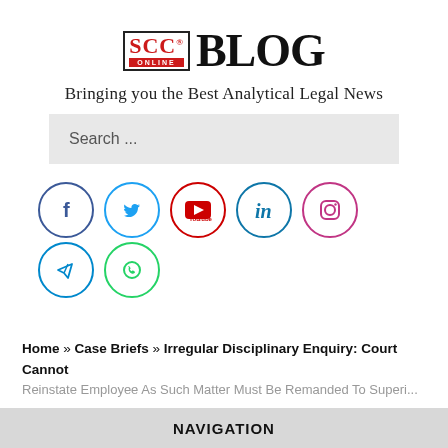[Figure (logo): SCC Online Blog logo — SCC in red serif text in a bordered box with ONLINE in white on red background, followed by BLOG in large black serif text]
Bringing you the Best Analytical Legal News
[Figure (other): Search bar with placeholder text 'Search ...' on grey background]
[Figure (other): Social media icons in two rows: Facebook (blue circle), Twitter (cyan circle), YouTube (red circle), LinkedIn (cyan circle), Instagram (purple-red gradient circle); second row: Telegram (cyan circle), WhatsApp (green circle)]
Home » Case Briefs » Irregular Disciplinary Enquiry: Court Cannot
Reinstate Employee As Such Matter Must Be Remanded To Superior...
NAVIGATION